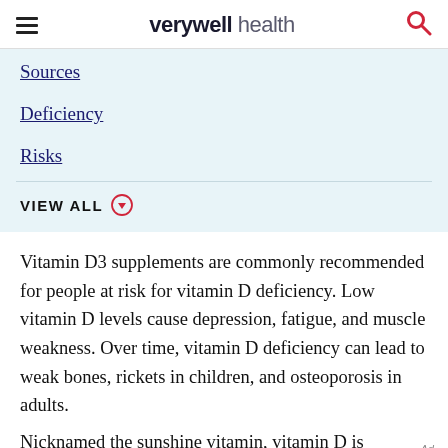verywell health
Sources
Deficiency
Risks
VIEW ALL
Vitamin D3 supplements are commonly recommended for people at risk for vitamin D deficiency. Low vitamin D levels cause depression, fatigue, and muscle weakness. Over time, vitamin D deficiency can lead to weak bones, rickets in children, and osteoporosis in adults.
Nicknamed the sunshine vitamin, vitamin D is